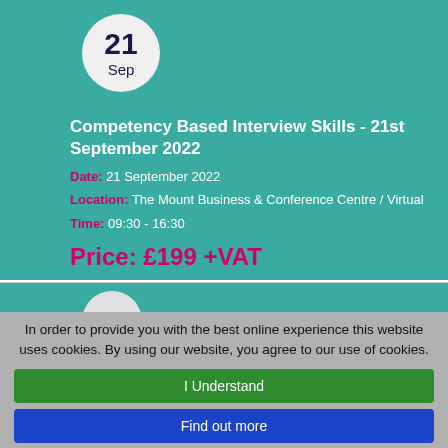Competency Based Interview Skills - 21st September 2022
Date: 21 September 2022
Location: The Mount Business & Conference Centre / Virtual
Time: 09:30 - 16:30
Price: £199 +VAT
BOOK NOW
In order to provide you with the best online experience this website uses cookies. By using our website, you agree to our use of cookies.
I Understand
Find out more